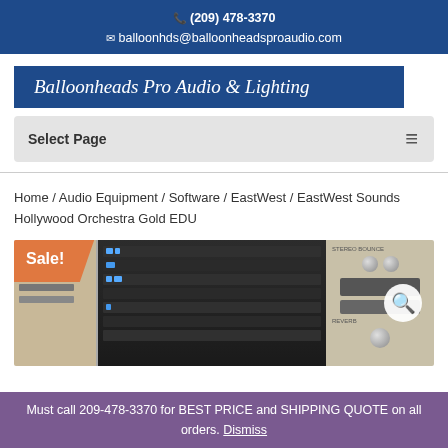(209) 478-3370
balloonhds@balloonheadsproaudio.com
Balloonheads Pro Audio & Lighting
Select Page
Home / Audio Equipment / Software / EastWest / EastWest Sounds Hollywood Orchestra Gold EDU
[Figure (screenshot): Product page screenshot showing a music software interface with a Sale! badge overlay and a magnifying glass search icon]
Must call 209-478-3370 for BEST PRICE and SHIPPING QUOTE on all orders. Dismiss